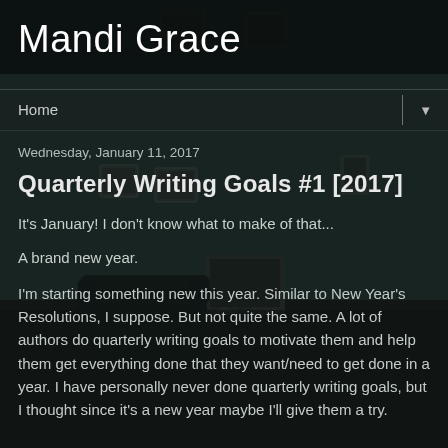[Figure (photo): Dark moody background photo of an abandoned or vintage room with armchair, television, and framed pictures on a teal/dark wall]
Mandi Grace
Home ▼
Wednesday, January 11, 2017
Quarterly Writing Goals #1 [2017]
It's January! I don't know what to make of that...
A brand new year.
I'm starting something new this year. Similar to New Year's Resolutions, I suppose. But not quite the same. A lot of authors do quarterly writing goals to motivate them and help them get everything done that they want/need to get done in a year. I have personally never done quarterly writing goals, but I thought since it's a new year maybe I'll give them a try.